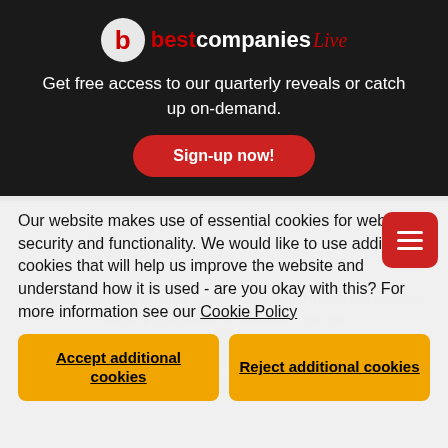[Figure (logo): Best Companies Live logo — red circle with white 'b', text 'best companies Live']
Get free access to our quarterly reveals or catch up on-demand.
Sign-up now!
Our website makes use of essential cookies for website security and functionality. We would like to use additional cookies that will help us improve the website and understand how it is used - are you okay with this? For more information see our Cookie Policy
Accept additional cookies
Reject additional cookies